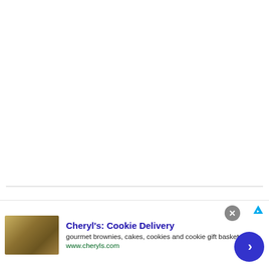[Figure (logo): Sporcle website logo in large bold black sans-serif text reading 'sporcle']
[Figure (infographic): Advertisement banner for Cheryl's Cookie Delivery showing a thumbnail image of brownies/cookies, ad title 'Cheryl's: Cookie Delivery', description 'gourmet brownies, cakes, cookies and cookie gift baskets', URL 'www.cheryls.com', with a close button (X) and a blue circular arrow navigation button]